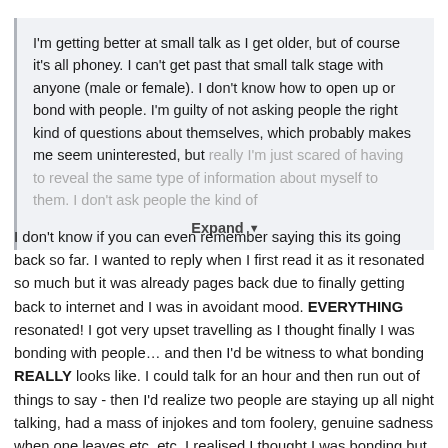I'm getting better at small talk as I get older, but of course it's all phoney. I can't get past that small talk stage with anyone (male or female). I don't know how to open up or bond with people. I'm guilty of not asking people the right kind of questions about themselves, which probably makes me seem uninterested, but really I'm just scared of having to reveal the same type of information about myself to them. I don't ask people the kind of
Expand
I don't know if you can even remember saying this its going back so far. I wanted to reply when I first read it as it resonated so much but it was already pages back due to finally getting back to internet and I was in avoidant mood. EVERYTHING resonated! I got very upset travelling as I thought finally I was bonding with people… and then I'd be witness to what bonding REALLY looks like. I could talk for an hour and then run out of things to say - then I'd realize two people are staying up all night talking, had a mass of injokes and tom foolery, genuine sadness when one leaves etc. etc. I realised I thought I was bonding but don't know what bonding really looks like! And yes I can relate to the question thing to! Or I don't want to ask them so I'm